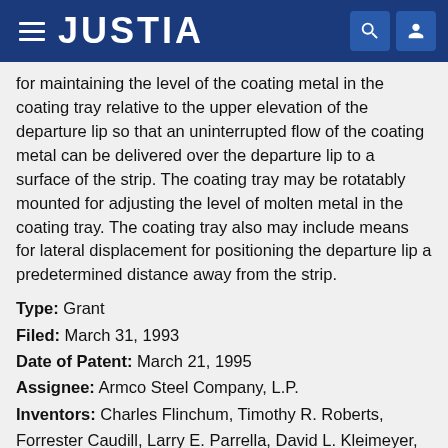JUSTIA
for maintaining the level of the coating metal in the coating tray relative to the upper elevation of the departure lip so that an uninterrupted flow of the coating metal can be delivered over the departure lip to a surface of the strip. The coating tray may be rotatably mounted for adjusting the level of molten metal in the coating tray. The coating tray also may include means for lateral displacement for positioning the departure lip a predetermined distance away from the strip.
Type: Grant
Filed: March 31, 1993
Date of Patent: March 21, 1995
Assignee: Armco Steel Company, L.P.
Inventors: Charles Flinchum, Timothy R. Roberts, Forrester Caudill, Larry E. Parrella, David L. Kleimeyer, Gerald L. Barney